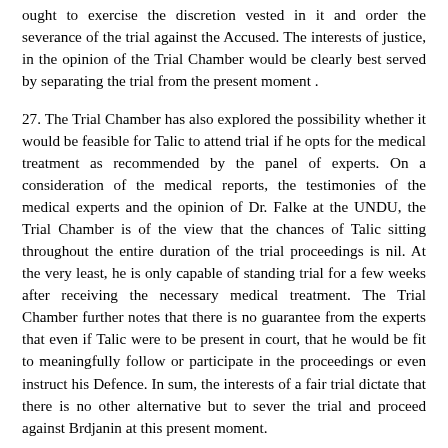ought to exercise the discretion vested in it and order the severance of the trial against the Accused. The interests of justice, in the opinion of the Trial Chamber would be clearly best served by separating the trial from the present moment .
27. The Trial Chamber has also explored the possibility whether it would be feasible for Talic to attend trial if he opts for the medical treatment as recommended by the panel of experts. On a consideration of the medical reports, the testimonies of the medical experts and the opinion of Dr. Falke at the UNDU, the Trial Chamber is of the view that the chances of Talic sitting throughout the entire duration of the trial proceedings is nil. At the very least, he is only capable of standing trial for a few weeks after receiving the necessary medical treatment. The Trial Chamber further notes that there is no guarantee from the experts that even if Talic were to be present in court, that he would be fit to meaningfully follow or participate in the proceedings or even instruct his Defence. In sum, the interests of a fair trial dictate that there is no other alternative but to sever the trial and proceed against Brdjanin at this present moment.
28. The Trial Chamber sees a realistic possibility of prejudice resulting from the continuation of a joint trial. Other fundamental considerations weighing on the mind of the Trial Chamber are the fundamental and essential public interests and the safeguarding of the interests of victims and witnesses who would appear to testify.